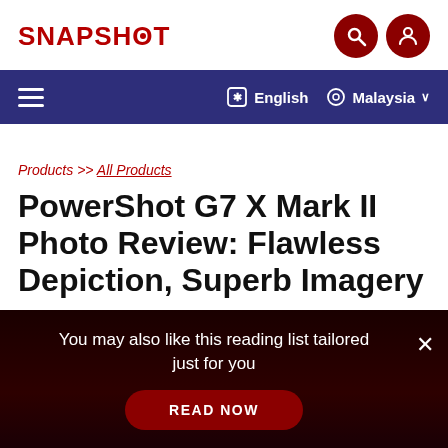SNAPSHOT
≡  English  Malaysia ∨
Products >> All Products
PowerShot G7 X Mark II Photo Review: Flawless Depiction, Superb Imagery
By Takeshi Ohura, Digital Camera Watch
You may also like this reading list tailored just for you
READ NOW